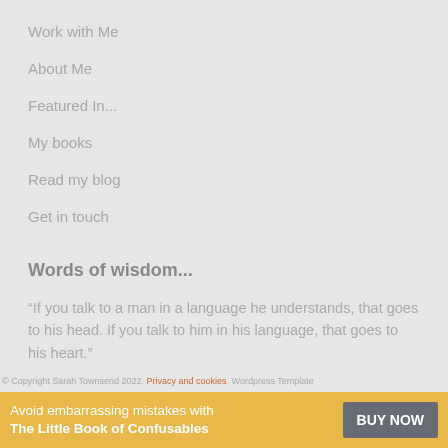Work with Me
About Me
Featured In...
My books
Read my blog
Get in touch
Words of wisdom...
“If you talk to a man in a language he understands, that goes to his head. If you talk to him in his language, that goes to his heart.”
Nelson Mandela
© Copyright Sarah Townsend 2022. Privacy and cookies  Wordpress Template
Avoid embarrassing mistakes with The Little Book of Confusables  BUY NOW